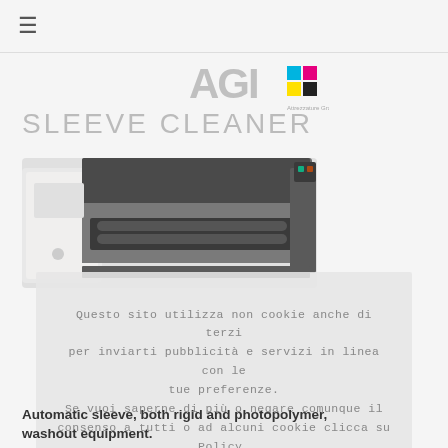≡
[Figure (logo): AGI logo - Attrezzature Grafiche Italia with cyan, magenta, yellow, black color squares]
SLEEVE CLEANER
[Figure (photo): Sleeve cleaner machine - industrial washout equipment, grey and white colored, horizontal cylindrical shape]
Questo sito utilizza non cookie anche di terzi per inviarti pubblicità e servizi in linea con le tue preferenze. Se vuoi saperne di più o negare comunque il consenso a tutti o ad alcuni cookie clicca su Policy.
OK
POLICY
Automatic sleeve, both rigid and photopolymer, washout equipment.